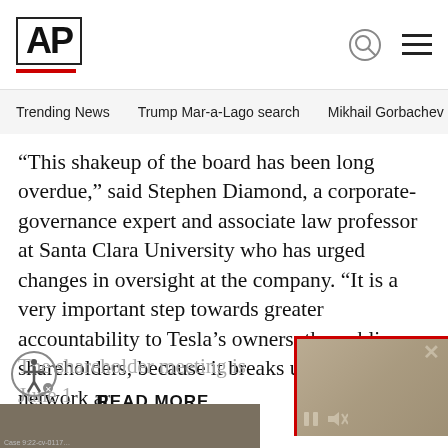AP
Trending News  Trump Mar-a-Lago search  Mikhail Gorbachev d
“This shakeup of the board has been long overdue,” said Stephen Diamond, a corporate-governance expert and associate law professor at Santa Clara University who has urged changes in oversight at the company. “It is a very important step towards greater accountability to Tesla’s owners, the public shareholders, because it breaks up the old-boys network ar…
The shareholder meeting is June 1…
READ MORE